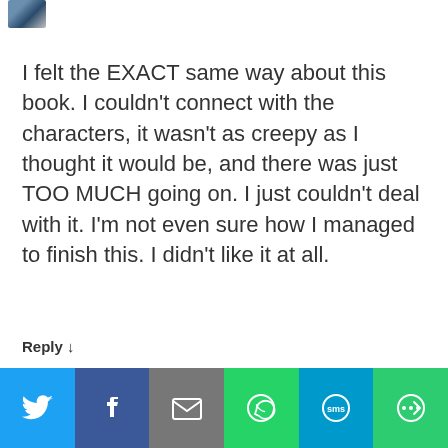[Figure (photo): Small avatar/profile image thumbnail in top-left corner]
I felt the EXACT same way about this book. I couldn't connect with the characters, it wasn't as creepy as I thought it would be, and there was just TOO MUCH going on. I just couldn't deal with it. I'm not even sure how I managed to finish this. I didn't like it at all.
Reply ↓
[Figure (screenshot): Social share bar with Twitter, Facebook, Email, WhatsApp, SMS, and More buttons]